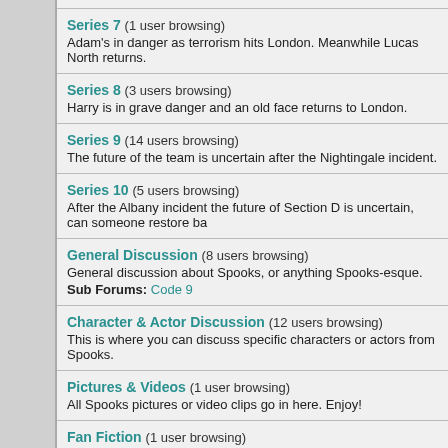Series 7 (1 user browsing) — Adam's in danger as terrorism hits London. Meanwhile Lucas North returns.
Series 8 (3 users browsing) — Harry is in grave danger and an old face returns to London.
Series 9 (14 users browsing) — The future of the team is uncertain after the Nightingale incident.
Series 10 (5 users browsing) — After the Albany incident the future of Section D is uncertain, can someone restore ba
General Discussion (8 users browsing) — General discussion about Spooks, or anything Spooks-esque. Sub Forums: Code 9
Character & Actor Discussion (12 users browsing) — This is where you can discuss specific characters or actors from Spooks.
Pictures & Videos (1 user browsing) — All Spooks pictures or video clips go in here. Enjoy!
Fan Fiction (1 user browsing) — Fan-fiction goes here, all new threads will be approved by a Staff member. Sub Forums: Ruth's Diary